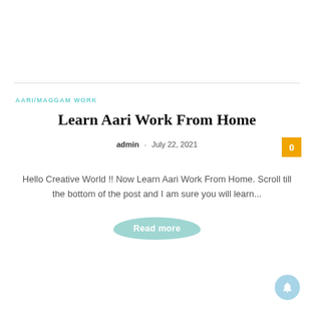AARI/MAGGAM WORK
Learn Aari Work From Home
admin  -  July 22, 2021
Hello Creative World !! Now Learn Aari Work From Home. Scroll till the bottom of the post and I am sure you will learn...
Read more